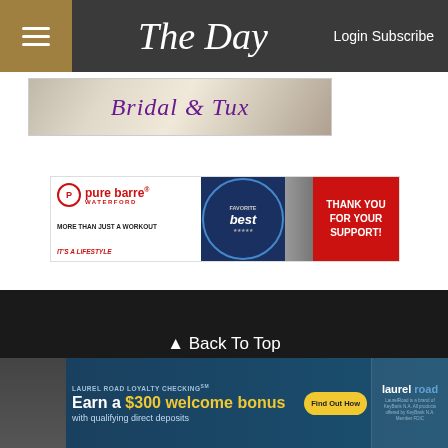The Day — Login Subscribe
[Figure (photo): Bridal & Tux advertisement banner with decorative background]
[Figure (photo): Pure Barre Waterford advertisement - More than just a workout, It's a lifestyle. Thank you for your support!]
▲ Back To Top
[Figure (logo): The Day newspaper logo in footer]
[Figure (photo): Laurel Road Loyalty Checking ad - Earn a $300 welcome bonus with qualifying direct deposits. Find Out How.]